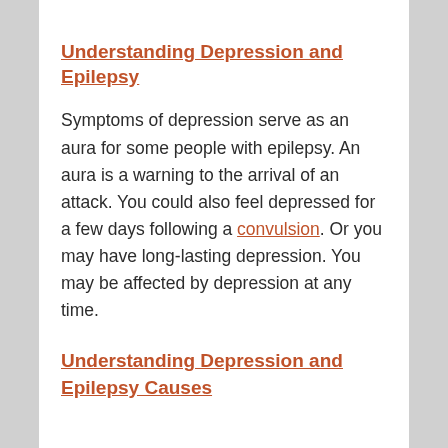Understanding Depression and Epilepsy
Symptoms of depression serve as an aura for some people with epilepsy. An aura is a warning to the arrival of an attack. You could also feel depressed for a few days following a convulsion. Or you may have long-lasting depression. You may be affected by depression at any time.
Understanding Depression and Epilepsy Causes